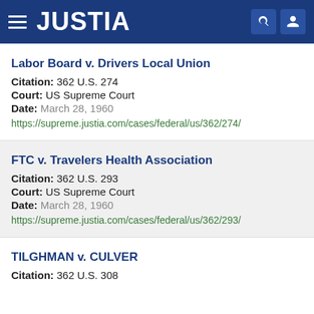JUSTIA
Labor Board v. Drivers Local Union
Citation: 362 U.S. 274
Court: US Supreme Court
Date: March 28, 1960
https://supreme.justia.com/cases/federal/us/362/274/
FTC v. Travelers Health Association
Citation: 362 U.S. 293
Court: US Supreme Court
Date: March 28, 1960
https://supreme.justia.com/cases/federal/us/362/293/
TILGHMAN v. CULVER
Citation: 362 U.S. 308